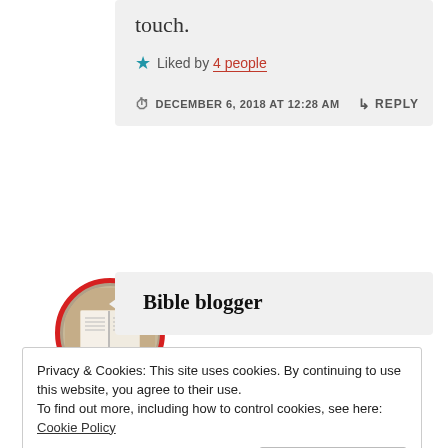touch.
★ Liked by 4 people
DECEMBER 6, 2018 AT 12:28 AM
↳ REPLY
[Figure (photo): Bible blogger avatar — circular photo with red border showing an open Bible on a table, with red badge overlay at bottom]
Bible blogger
Privacy & Cookies: This site uses cookies. By continuing to use this website, you agree to their use.
To find out more, including how to control cookies, see here: Cookie Policy
Close and accept